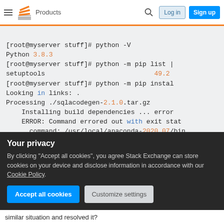Stack Overflow - Products | Log in | Sign up
[Figure (screenshot): Terminal code block showing python -V (Python 3.8.3), pip list showing setuptools 49.2, pip install command, processing sqlacodegen-2.1.0.tar.gz, Installing build dependencies ... error, ERROR: Command errored out with exit stat, command: /usr/local/anaconda-2020.07/bin, cwd: None, Complete output (3 lines):, Looking in links: ., ERROR: Could not find a version that sati, ERROR: No matching distribution found f]
Your privacy
By clicking "Accept all cookies", you agree Stack Exchange can store cookies on your device and disclose information in accordance with our Cookie Policy.
Accept all cookies   Customize settings
similar situation and resolved it?